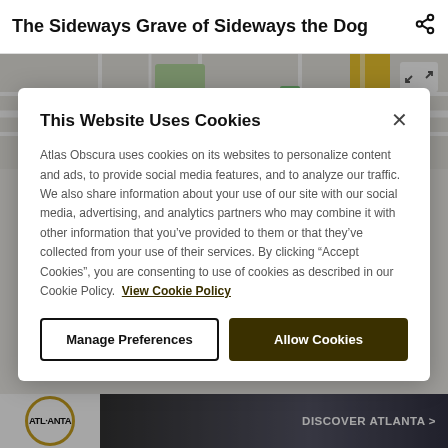The Sideways Grave of Sideways the Dog
[Figure (map): Street map showing a location pin on a road map, with a green park area and yellow highway visible]
This Website Uses Cookies
Atlas Obscura uses cookies on its websites to personalize content and ads, to provide social media features, and to analyze our traffic. We also share information about your use of our site with our social media, advertising, and analytics partners who may combine it with other information that you've provided to them or that they've collected from your use of their services. By clicking "Accept Cookies", you are consenting to use of cookies as described in our Cookie Policy. View Cookie Policy
[Figure (screenshot): Two buttons: 'Manage Preferences' (outlined) and 'Allow Cookies' (dark olive/brown filled)]
[Figure (infographic): Dark advertisement banner with Atlanta logo ring and 'DISCOVER ATLANTA >' text]